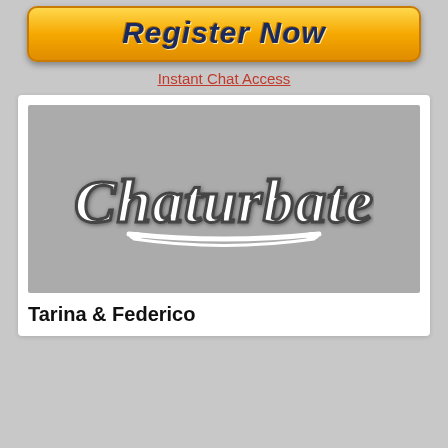[Figure (other): Orange gradient 'Register Now' button with dark blue bold italic text]
Instant Chat Access
[Figure (logo): Chaturbate logo in gray/white script lettering on a gray background placeholder image]
Tarina & Federico